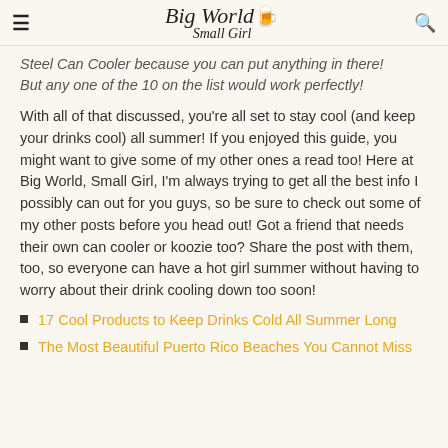Big World Small Girl
Steel Can Cooler because you can put anything in there! But any one of the 10 on the list would work perfectly!
With all of that discussed, you're all set to stay cool (and keep your drinks cool) all summer! If you enjoyed this guide, you might want to give some of my other ones a read too! Here at Big World, Small Girl, I'm always trying to get all the best info I possibly can out for you guys, so be sure to check out some of my other posts before you head out! Got a friend that needs their own can cooler or koozie too? Share the post with them, too, so everyone can have a hot girl summer without having to worry about their drink cooling down too soon!
17 Cool Products to Keep Drinks Cold All Summer Long
The Most Beautiful Puerto Rico Beaches You Cannot Miss